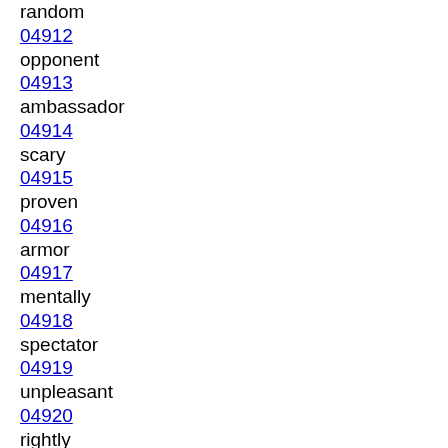random
04912
opponent
04913
ambassador
04914
scary
04915
proven
04916
armor
04917
mentally
04918
spectator
04919
unpleasant
04920
rightly
04921
assignment
04922